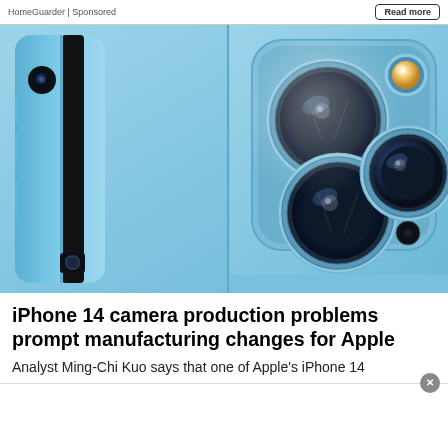HomeGuarder | Sponsored
[Figure (photo): Close-up photo of an iPhone 14 Pro camera system showing the triple-lens camera module on a blue aluminum body, with two side views and a detailed view of the camera bump with three lenses and a LiDAR sensor.]
iPhone 14 camera production problems prompt manufacturing changes for Apple
Analyst Ming-Chi Kuo says that one of Apple's iPhone 14